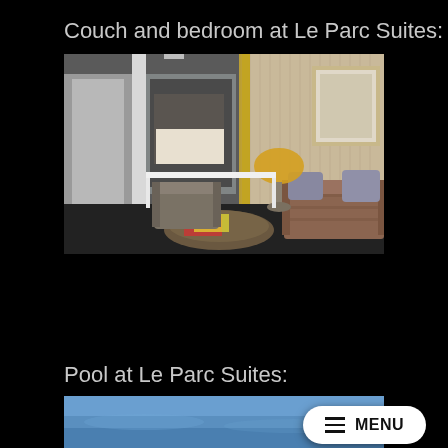Couch and bedroom at Le Parc Suites:
[Figure (photo): Interior photo of a hotel suite at Le Parc Suites showing a living area with a brown striped sofa with decorative pillows, an armchair, a glass coffee table with magazines, a lamp, a framed artwork on the wall, and a view through glass partitions into the bedroom area with dark carpet flooring.]
Pool at Le Parc Suites:
[Figure (photo): Partially visible photo of a pool at Le Parc Suites, showing blue water.]